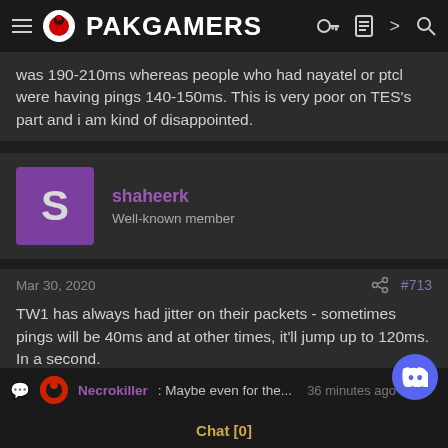PAKGAMERS
was 190-210ms whereas people who had nayatel or ptcl were having pings 140-150ms. This is very poor on TES's part and i am kind of disappointed.
shaheerk
Well-known member
Mar 30, 2020  #713
TW1 has always had jitter on their packets - sometimes pings will be 40ms and at other times, it'll jump up to 120ms. In a second.

There are peak times (the 40-120ms variations, for example; it gets worse with international traffic) and offpeak times (where pings remain in the 40ms ballpark, for e.g.)
Necrokiller: Maybe even for the... 36 minutes ago
Chat [0]